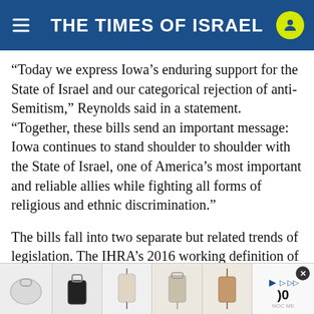THE TIMES OF ISRAEL
“Today we express Iowa’s enduring support for the State of Israel and our categorical rejection of anti-Semitism,” Reynolds said in a statement. “Together, these bills send an important message: Iowa continues to stand shoulder to shoulder with the State of Israel, one of America’s most important and reliable allies while fighting all forms of religious and ethnic discrimination.”
The bills fall into two separate but related trends of legislation. The IHRA’s 2016 working definition of antisemitism, while controversial for including certain criticisms of Israel, has also been adopted by more t[...] just la[...]e
[Figure (screenshot): Advertisement bar at bottom showing handbag product images with a close button and price/play controls]